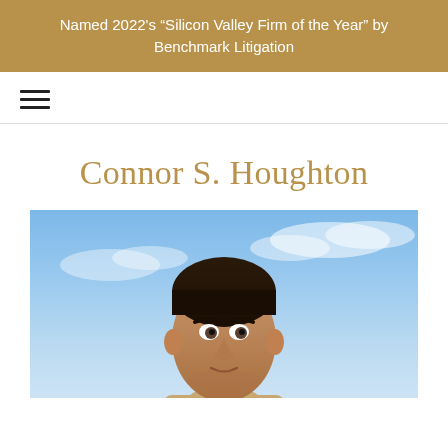Named 2022's “Silicon Valley Firm of the Year” by Benchmark Litigation
Connor S. Houghton
[Figure (photo): Professional headshot of Connor S. Houghton against a blue sky background]